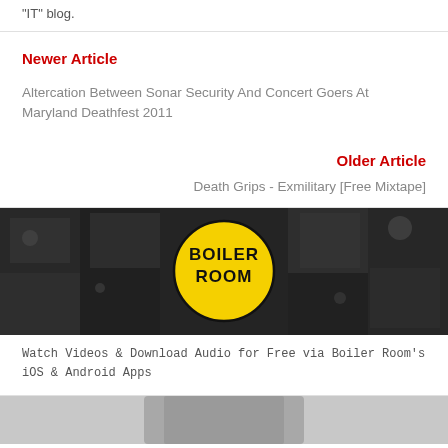"IT" blog.
Newer Article
Altercation Between Sonar Security And Concert Goers At Maryland Deathfest 2011
Older Article
Death Grips - Exmilitary [Free Mixtape]
[Figure (photo): Boiler Room banner image — black and white collage of concert/DJ scenes with a yellow circle logo reading BOILER ROOM in bold black text]
Watch Videos & Download Audio for Free via Boiler Room's iOS & Android Apps
[Figure (photo): Bottom portion of another image, mostly gray/blurred, showing the top of a person's head]